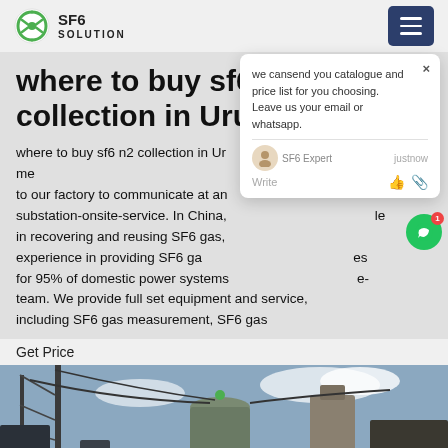SF6 SOLUTION
where to buy sf6 n2 collection in Uruguay
where to buy sf6 n2 collection in Uruguay welcome to our factory to communicate at any time substation-onsite-service. In China, specializes in recovering and reusing SF6 gas, has rich experience in providing SF6 gas services for 95% of domestic power systems maintenance team. We provide full set equipment and service, including SF6 gas measurement, SF6 gas
Get Price
[Figure (photo): Industrial electrical substation equipment with cables and towers against sky]